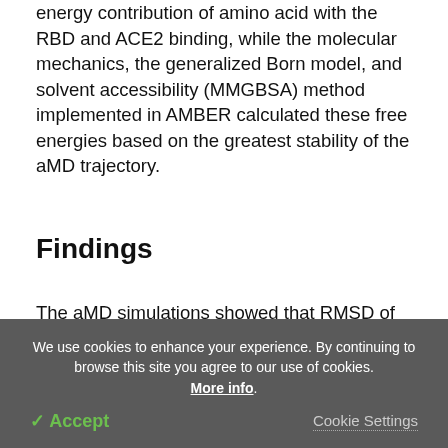SARS-CoV-2 variants. Decomposition energy assessed energy contribution of amino acid with the RBD and ACE2 binding, while the molecular mechanics, the generalized Born model, and solvent accessibility (MMGBSA) method implemented in AMBER calculated these free energies based on the greatest stability of the aMD trajectory.
Findings
The aMD simulations showed that RMSD of RBDWT-ACE2, RBDAlpha-ACE2, and RBDDelta-ACE2 complexes
We use cookies to enhance your experience. By continuing to browse this site you agree to our use of cookies. More info.